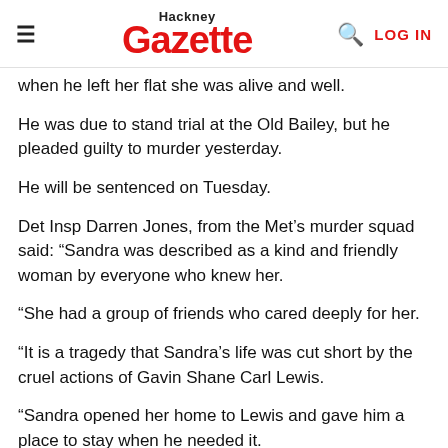Hackney Gazette  LOG IN
when he left her flat she was alive and well.
He was due to stand trial at the Old Bailey, but he pleaded guilty to murder yesterday.
He will be sentenced on Tuesday.
Det Insp Darren Jones, from the Met’s murder squad said: “Sandra was described as a kind and friendly woman by everyone who knew her.
“She had a group of friends who cared deeply for her.
“It is a tragedy that Sandra’s life was cut short by the cruel actions of Gavin Shane Carl Lewis.
“Sandra opened her home to Lewis and gave him a place to stay when he needed it.